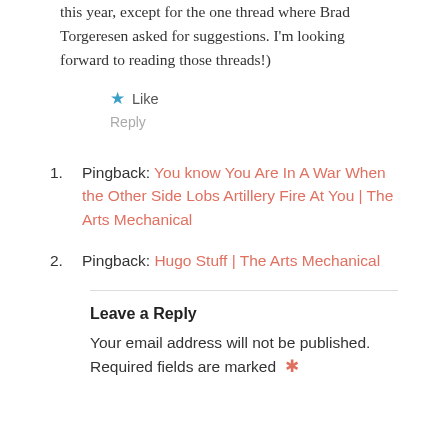this year, except for the one thread where Brad Torgeresen asked for suggestions. I'm looking forward to reading those threads!)
Like
Reply
1. Pingback: You know You Are In A War When the Other Side Lobs Artillery Fire At You | The Arts Mechanical
2. Pingback: Hugo Stuff | The Arts Mechanical
Leave a Reply
Your email address will not be published. Required fields are marked *